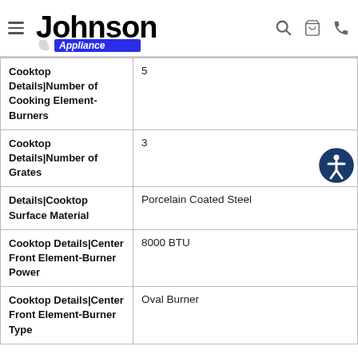Johnson Appliance
| Attribute | Value |
| --- | --- |
| Cooktop Details|Number of Cooking Element-Burners | 5 |
| Cooktop Details|Number of Grates | 3 |
| Details|Cooktop Surface Material | Porcelain Coated Steel |
| Cooktop Details|Center Front Element-Burner Power | 8000 BTU |
| Cooktop Details|Center Front Element-Burner Type | Oval Burner |